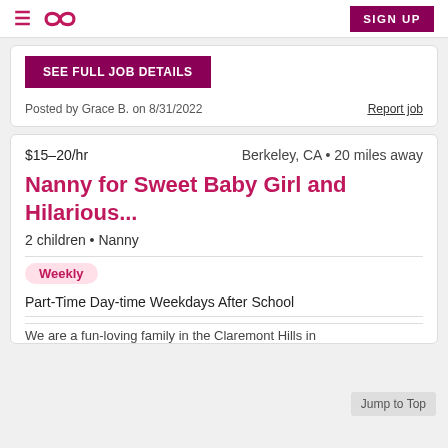≡  ∞  SIGN UP
SEE FULL JOB DETAILS
Posted by Grace B. on 8/31/2022
Report job
$15–20/hr  Berkeley, CA • 20 miles away
Nanny for Sweet Baby Girl and Hilarious...
2 children • Nanny
Weekly
Part-Time Day-time Weekdays After School
We are a fun-loving family in the Claremont Hills in